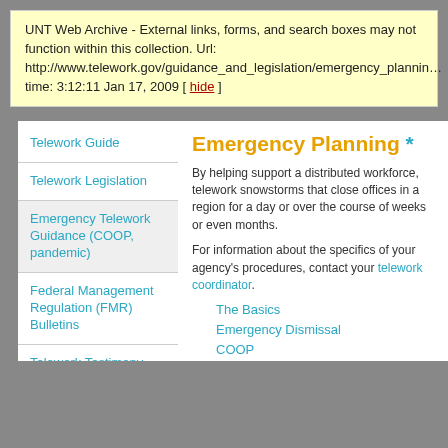UNT Web Archive - External links, forms, and search boxes may not function within this collection. Url: http://www.telework.gov/guidance_and_legislation/emergency_planning time: 3:12:11 Jan 17, 2009 [ hide ]
Telework Guide
Telework Legislation
Emergency Telework Guidance (COOP, pandemic)
Federal Management Regulation (FMR) Bulletins
Telework Testimony
Emergency Planning *
By helping support a distributed workforce, telework snowstorms that close offices in a region for a day or over the course of weeks or even months.
For information about the specifics of your agency's procedures, contact your telework coordinator.
The Basics
Emergency Dismissal
COOP
Pandemic Influenza